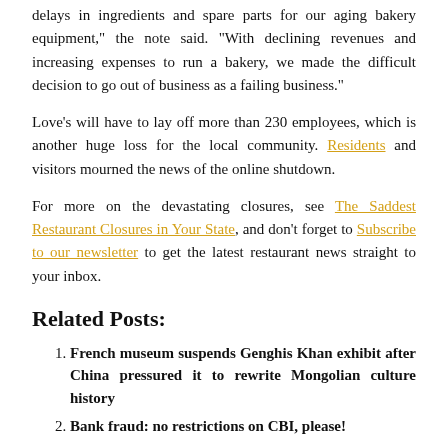delays in ingredients and spare parts for our aging bakery equipment," the note said. "With declining revenues and increasing expenses to run a bakery, we made the difficult decision to go out of business as a failing business."
Love's will have to lay off more than 230 employees, which is another huge loss for the local community. Residents and visitors mourned the news of the online shutdown.
For more on the devastating closures, see The Saddest Restaurant Closures in Your State, and don't forget to Subscribe to our newsletter to get the latest restaurant news straight to your inbox.
Related Posts:
French museum suspends Genghis Khan exhibit after China pressured it to rewrite Mongolian culture history
Bank fraud: no restrictions on CBI, please!
Government to subsidize interest rates on loans to fitness